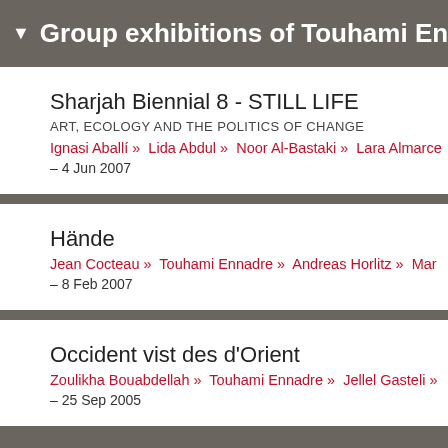▼ Group exhibitions of Touhami Ennadre
Sharjah Biennial 8 - STILL LIFE
ART, ECOLOGY AND THE POLITICS OF CHANGE
Ignasi Aballí » Lida Abdul » Noor Al-Bastaki » Lara Almarce
– 4 Jun 2007
Hände
Jean Cocteau » Touhami Ennadre » Andreas Horlitz » Mar
– 8 Feb 2007
Occident vist des d'Orient
Zoulikha Bouabdellah » Touhami Ennadre » Jellel Gasteli »
– 25 Sep 2005